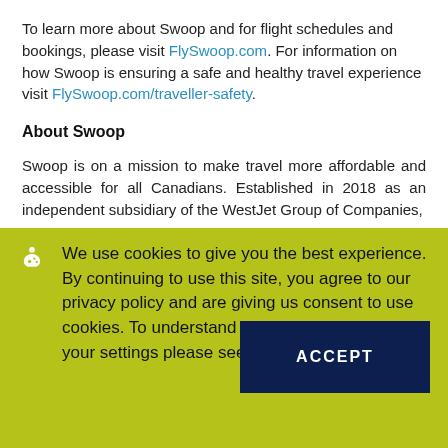To learn more about Swoop and for flight schedules and bookings, please visit FlySwoop.com. For information on how Swoop is ensuring a safe and healthy travel experience visit FlySwoop.com/traveller-safety.
About Swoop
Swoop is on a mission to make travel more affordable and accessible for all Canadians. Established in 2018 as an independent subsidiary of the WestJet Group of Companies,
We use cookies to give you the best experience. By continuing to use this site, you agree to our privacy policy and are giving us consent to use cookies. To understand our policy or to change your settings please see our policy.